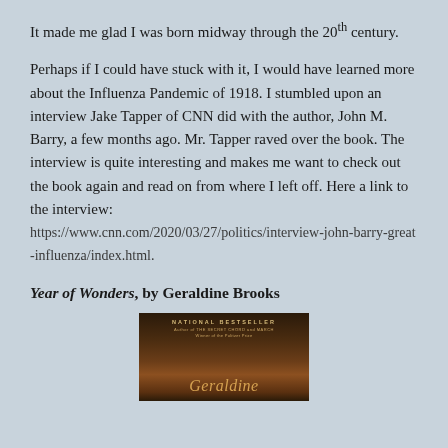It made me glad I was born midway through the 20th century.
Perhaps if I could have stuck with it, I would have learned more about the Influenza Pandemic of 1918. I stumbled upon an interview Jake Tapper of CNN did with the author, John M. Barry, a few months ago. Mr. Tapper raved over the book. The interview is quite interesting and makes me want to check out the book again and read on from where I left off. Here a link to the interview: https://www.cnn.com/2020/03/27/politics/interview-john-barry-great-influenza/index.html.
Year of Wonders, by Geraldine Brooks
[Figure (photo): Book cover of Year of Wonders by Geraldine Brooks, showing a National Bestseller label and the author's first name Geraldine in gold italic text against a dark brown background]